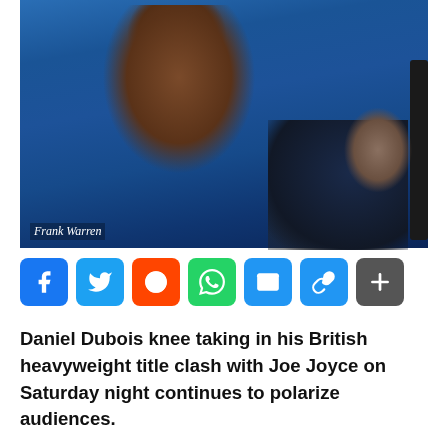[Figure (photo): Boxing scene showing Daniel Dubois on one knee in the boxing ring during his British heavyweight title clash with Joe Joyce, with corner staff attending to him. Photo credit: Frank Warren.]
[Figure (infographic): Social media share buttons: Facebook (blue), Twitter (blue), Reddit (orange-red), WhatsApp (green), Email (blue), Link/copy (blue), Share/plus (grey)]
Daniel Dubois knee taking in his British heavyweight title clash with Joe Joyce on Saturday night continues to polarize audiences.